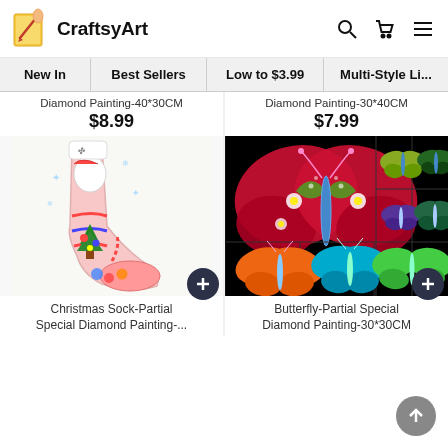[Figure (logo): CraftsyArt logo with pencil/paintbrush icon and text 'CraftsyArt']
CraftsyArt
New In
Best Sellers
Low to $3.99
Multi-Style Li...
Diamond Painting-40*30CM
$8.99
Diamond Painting-30*40CM
$7.99
[Figure (photo): Christmas sock/stocking diamond painting with Santa Claus and Christmas decorations]
[Figure (photo): Butterfly partial special diamond painting collage on black background showing multiple butterfly designs]
Christmas Sock-Partial Special Diamond Painting-...
Butterfly-Partial Special Diamond Painting-30*30CM